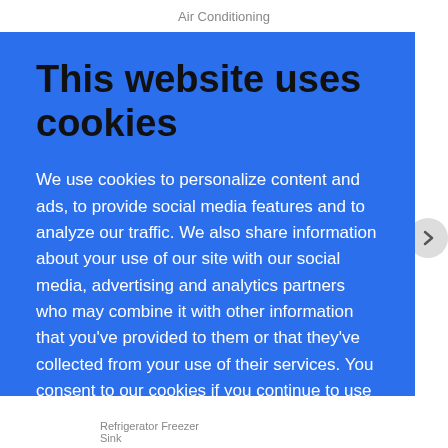Air Conditioning
This website uses cookies
We use cookies to personalize content and ads, to provide social media features and to analyze our traffic. We also share information about your use of our site with our social media, advertising and analytics partners who may combine it with other information that you've provided to them or that they've collected from your use of their services. You consent to our cookies if you continue to use our website.  More Info
Got It
Refrigerator Freezer
Sink